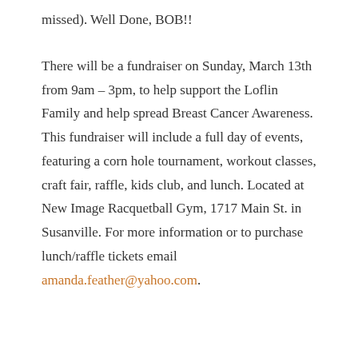missed). Well Done, BOB!!
There will be a fundraiser on Sunday, March 13th from 9am – 3pm, to help support the Loflin Family and help spread Breast Cancer Awareness. This fundraiser will include a full day of events, featuring a corn hole tournament, workout classes, craft fair, raffle, kids club, and lunch. Located at New Image Racquetball Gym, 1717 Main St. in Susanville. For more information or to purchase lunch/raffle tickets email amanda.feather@yahoo.com.